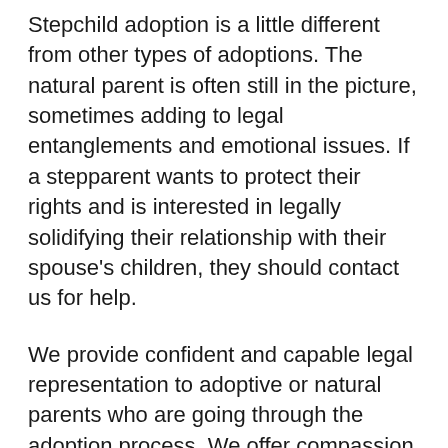Stepchild adoption is a little different from other types of adoptions. The natural parent is often still in the picture, sometimes adding to legal entanglements and emotional issues. If a stepparent wants to protect their rights and is interested in legally solidifying their relationship with their spouse's children, they should contact us for help.
We provide confident and capable legal representation to adoptive or natural parents who are going through the adoption process. We offer compassion, support and a highly skilled legal team that will stand by our clients from the first contact to final approval of their adoption decree.
Adoptive or birth parents who need the services of a qualified adoption attorney should contact the legal